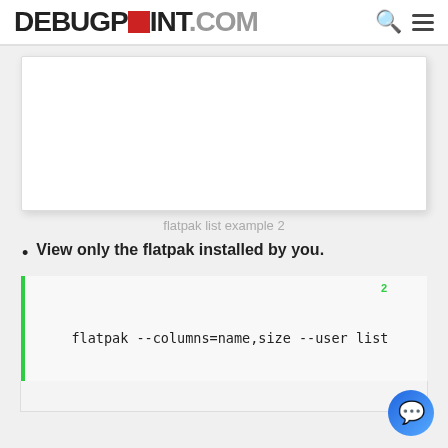DEBUGPOINT.COM
[Figure (screenshot): A blank white image box representing a flatpak list screenshot example]
flatpak list example 2
View only the flatpak installed by you.
flatpak --columns=name,size --user list